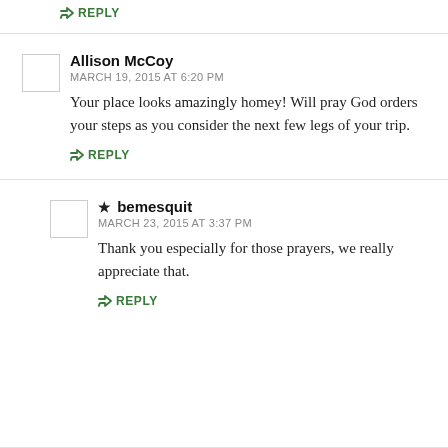↳ REPLY
Allison McCoy
MARCH 19, 2015 AT 6:20 PM
Your place looks amazingly homey! Will pray God orders your steps as you consider the next few legs of your trip.
↳ REPLY
★ bemesquit
MARCH 23, 2015 AT 3:37 PM
Thank you especially for those prayers, we really appreciate that.
↳ REPLY